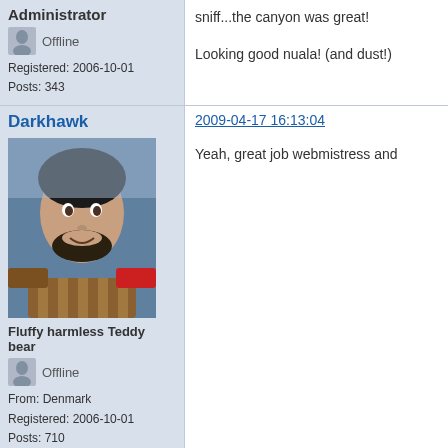Administrator
Offline
Registered: 2006-10-01
Posts: 343
sniff...the canyon was great!

Looking good nuala! (and dust!)
Darkhawk
2009-04-17 16:13:04
Yeah, great job webmistress and
Fluffy harmless Teddy bear
Offline
From: Denmark
Registered: 2006-10-01
Posts: 710
Posts [ 26 to 34 of 34 ]
Pages  Previous  1  2
The Seed Roleplaying Community » DVI-Net » Fix and Add on for t
Graphic elements © Runestone Game Development. Used with permission.
Powered by Pu